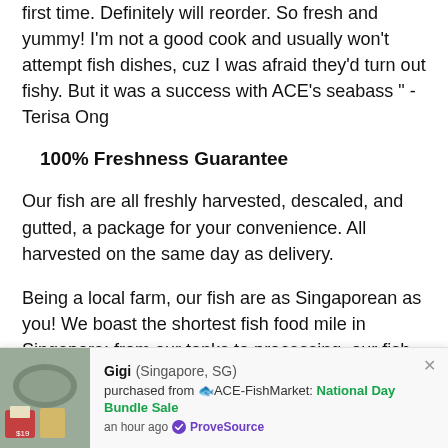first time. Definitely will reorder. So fresh and yummy! I'm not a good cook and usually won't attempt fish dishes, cuz I was afraid they'd turn out fishy. But it was a success with ACE's seabass " - Terisa Ong
100% Freshness Guarantee
Our fish are all freshly harvested, descaled, and gutted, a package for your convenience. All harvested on the same day as delivery.
Being a local farm, our fish are as Singaporean as you! We boast the shortest fish food mile in Singapore; from our tanks to processing, our fish
[Figure (photo): Thumbnail image of fish/seafood product]
Gigi (Singapore, SG) purchased from 🐟ACE-FishMarket: National Day Bundle Sale an hour ago ✅ ProveSource